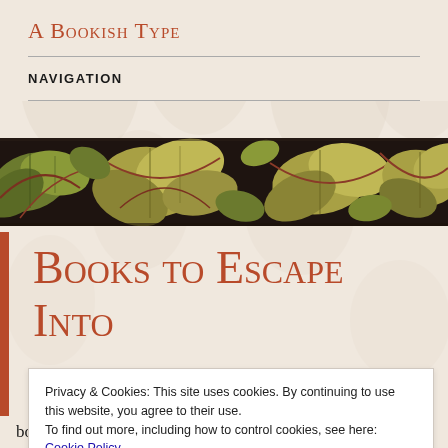A Bookish Type
NAVIGATION
[Figure (illustration): Decorative botanical banner with dark background showing large stylized leaves and foliage in gold, green, and brown tones — a William Morris-style repeating pattern.]
Books to Escape Into
Privacy & Cookies: This site uses cookies. By continuing to use this website, you agree to their use.
To find out more, including how to control cookies, see here:
Cookie Policy
Close and accept
books that had amazing worlds that were so fully